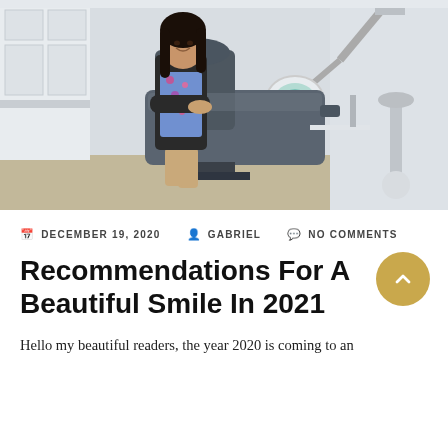[Figure (photo): A woman with long dark hair wearing a black jacket over a floral blouse and tan pants, standing and leaning against a dental chair in a dental office. Dental equipment including an overhead light and cabinet are visible in the background.]
DECEMBER 19, 2020  GABRIEL  NO COMMENTS
Recommendations For A Beautiful Smile In 2021
Hello my beautiful readers, the year 2020 is coming to an